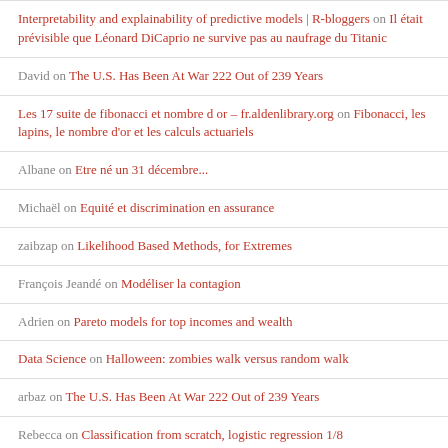Interpretability and explainability of predictive models | R-bloggers on Il était prévisible que Léonard DiCaprio ne survive pas au naufrage du Titanic
David on The U.S. Has Been At War 222 Out of 239 Years
Les 17 suite de fibonacci et nombre d or – fr.aldenlibrary.org on Fibonacci, les lapins, le nombre d'or et les calculs actuariels
Albane on Etre né un 31 décembre...
Michaël on Equité et discrimination en assurance
zaibzap on Likelihood Based Methods, for Extremes
François Jeandé on Modéliser la contagion
Adrien on Pareto models for top incomes and wealth
Data Science on Halloween: zombies walk versus random walk
arbaz on The U.S. Has Been At War 222 Out of 239 Years
Rebecca on Classification from scratch, logistic regression 1/8